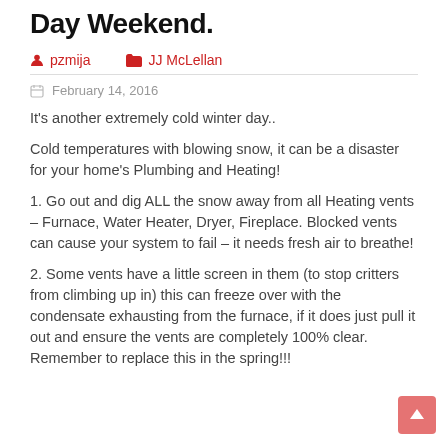Day Weekend.
pzmija   JJ McLellan
February 14, 2016
It's another extremely cold winter day..
Cold temperatures with blowing snow, it can be a disaster for your home's Plumbing and Heating!
1. Go out and dig ALL the snow away from all Heating vents – Furnace, Water Heater, Dryer, Fireplace. Blocked vents can cause your system to fail – it needs fresh air to breathe!
2. Some vents have a little screen in them (to stop critters from climbing up in) this can freeze over with the condensate exhausting from the furnace, if it does just pull it out and ensure the vents are completely 100% clean. Remember to replace this in the spring!!!